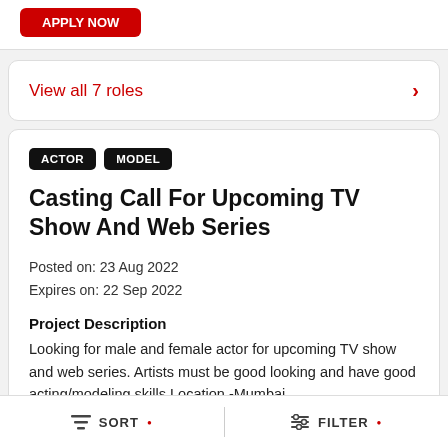View all 7 roles
ACTOR  MODEL
Casting Call For Upcoming TV Show And Web Series
Posted on: 23 Aug 2022
Expires on: 22 Sep 2022
Project Description
Looking for male and female actor for upcoming TV show and web series. Artists must be good looking and have good acting/modeling skills Location -Mumbai
SORT  FILTER